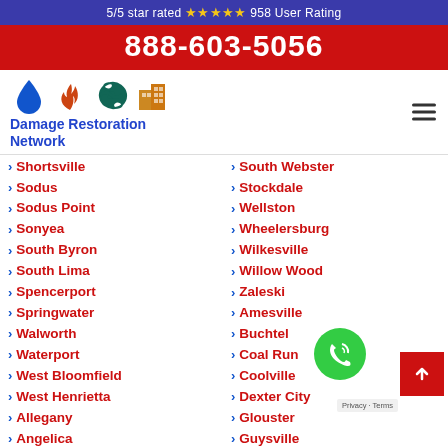5/5 star rated ★★★★★ 958 User Rating
888-603-5056
[Figure (logo): Damage Restoration Network logo with water drop, fire, hurricane, and building icons]
Shortsville
Sodus
Sodus Point
Sonyea
South Byron
South Lima
Spencerport
Springwater
Walworth
Waterport
West Bloomfield
West Henrietta
Allegany
Angelica
South Webster
Stockdale
Wellston
Wheelersburg
Wilkesville
Willow Wood
Zaleski
Amesville
Buchtel
Coal Run
Coolville
Dexter City
Glouster
Guysville